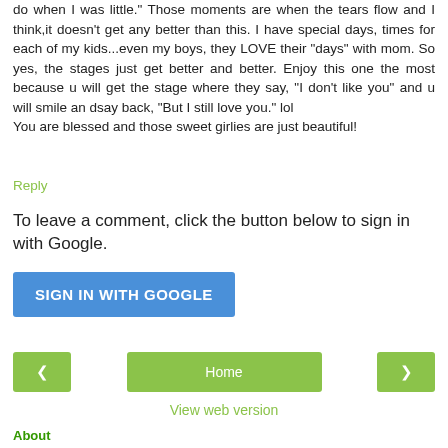do when I was little." Those moments are when the tears flow and I think,it doesn't get any better than this. I have special days, times for each of my kids...even my boys, they LOVE their "days" with mom. So yes, the stages just get better and better. Enjoy this one the most because u will get the stage where they say, "I don't like you" and u will smile an dsay back, "But I still love you." lol
You are blessed and those sweet girlies are just beautiful!
Reply
To leave a comment, click the button below to sign in with Google.
SIGN IN WITH GOOGLE
‹  Home  ›
View web version
About